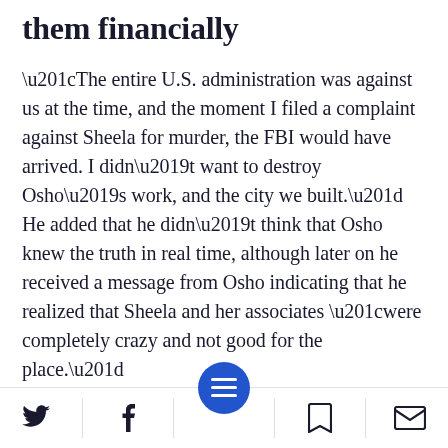them financially
“The entire U.S. administration was against us at the time, and the moment I filed a complaint against Sheela for murder, the FBI would have arrived. I didn’t want to destroy Osho’s work, and the city we built.” He added that he didn’t think that Osho knew the truth in real time, although later on he received a message from Osho indicating that he realized that Sheela and her associates “were completely crazy and not good for the place.”
“What the series doe… xplain,” insists